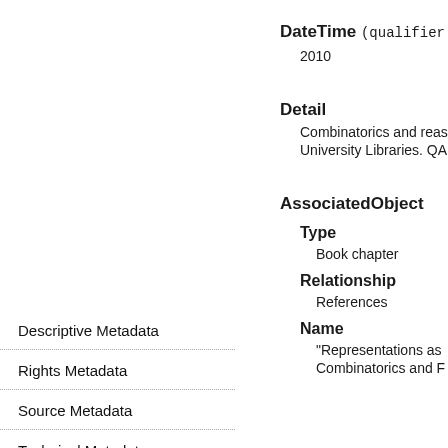DateTime (qualifier =
2010
Detail
Combinatorics and reason University Libraries. QA164
AssociatedObject
Type
Book chapter
Relationship
References
Name
"Representations as Combinatorics and F
Descriptive Metadata
Rights Metadata
Source Metadata
Technical Metadata